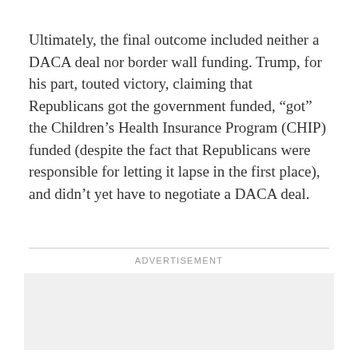Ultimately, the final outcome included neither a DACA deal nor border wall funding. Trump, for his part, touted victory, claiming that Republicans got the government funded, “got” the Children’s Health Insurance Program (CHIP) funded (despite the fact that Republicans were responsible for letting it lapse in the first place), and didn’t yet have to negotiate a DACA deal.
[Figure (other): Advertisement placeholder box (gray rectangle)]